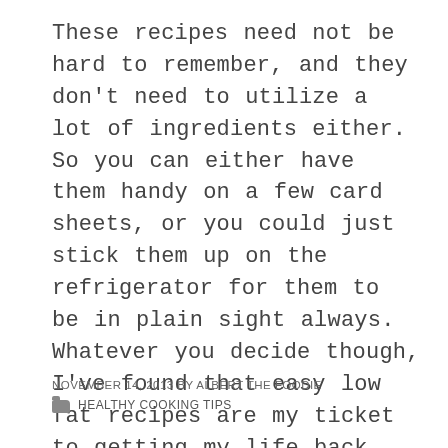These recipes need not be hard to remember, and they don't need to utilize a lot of ingredients either. So you can either have them handy on a few card sheets, or you could just stick them up on the refrigerator for them to be in plain sight always. Whatever you decide though, I've found that easy low fat recipes are my ticket to getting my life back into order, and my weight back into a good balance.
NOVEMBER 14, 2013 BY ALBERT THE FOODIE
HEALTHY COOKING TIPS